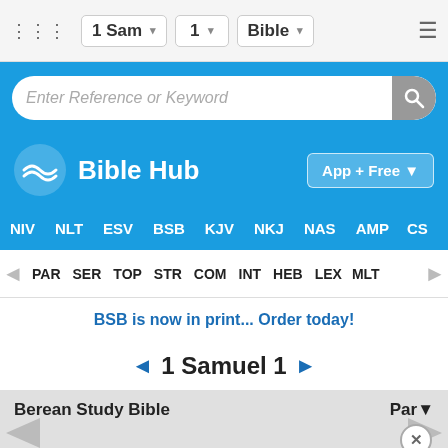1 Sam  1  Bible
[Figure (screenshot): Search bar with placeholder text 'Enter Reference or Keyword' and search icon button, on blue background]
[Figure (logo): Bible Hub logo with wave icon and 'Bible Hub' text, 'App + Free' button on right]
NIV  NLT  ESV  BSB  KJV  NKJ  NAS  AMP  CS
PAR  SER  TOP  STR  COM  INT  HEB  LEX  MLT
BSB is now in print... Order today!
◄ 1 Samuel 1 ►
Berean Study Bible  Par▼
Elkan... and His Wi...
(Psal...